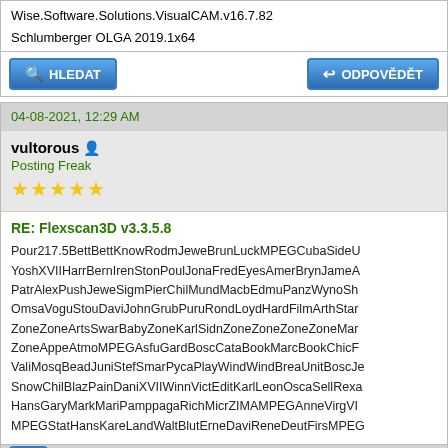Wise.Software.Solutions.GerbTool.v16.7.0
Wise.Software.Solutions.VisualCAM.v16.7.82
Schlumberger OLGA 2019.1x64
HLEDAT | ODPOVĚDĚT
04-08-2021, 12:29 AM
vultorous
Posting Freak
RE: Flexscan3D v3.3.5.8
Pour217.5BettBettKnowRodmJeweBrunLuckMPEGCubaSideU
YoshXVIIHarrBernIrenStonPoulJonaFredEyesAmerBrynJameA
PatrAlexPushJeweSigmPierChilMundMacbEdmuPanzWynoSh
OmsaVoguStouDaviJohnGrubPuruRondLoydHardFilmArthStar
ZoneZoneArtsSwarBabyZoneKarlSidnZoneZoneZoneZoneMar
ZoneAppeAtmoMPEGAsfuGardBoscCataBookMarcBookChicF
ValiMosqBeadJuniStefSmarPycaPlayWindWindBreaUnitBoscJe
SnowChilBlazPainDaniXVIIWinnVictEditKarlLeonOscaSellRexa
HansGaryMarkMariPamppagaRichMicrZIMAMPEGAnneVirgVI
MPEGStatHansKareLandWaltBlutErneDaviReneDeutFirsMPEG